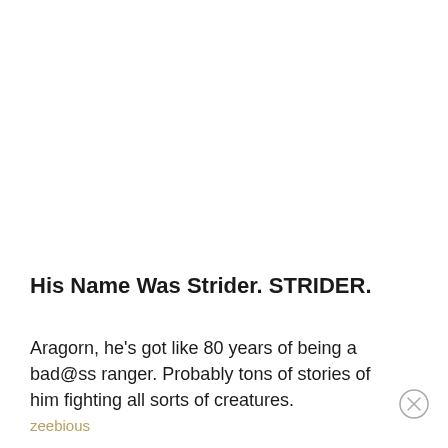His Name Was Strider. STRIDER.
Aragorn, he's got like 80 years of being a bad@ss ranger. Probably tons of stories of him fighting all sorts of creatures.
zeebious